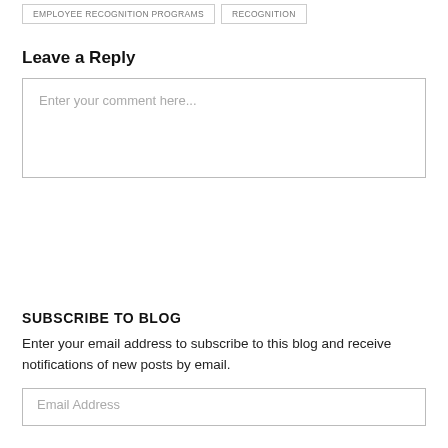EMPLOYEE RECOGNITION PROGRAMS | RECOGNITION
Leave a Reply
Enter your comment here...
SUBSCRIBE TO BLOG
Enter your email address to subscribe to this blog and receive notifications of new posts by email.
Email Address